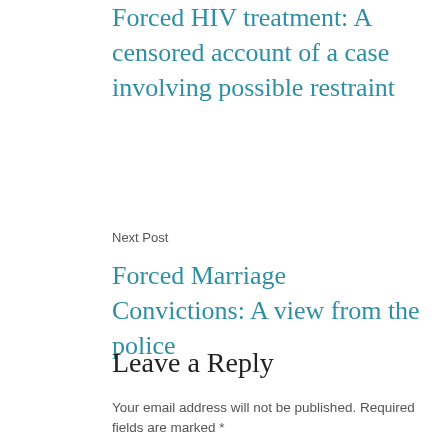Forced HIV treatment: A censored account of a case involving possible restraint
Next Post
Forced Marriage Convictions: A view from the police
Leave a Reply
Your email address will not be published. Required fields are marked *